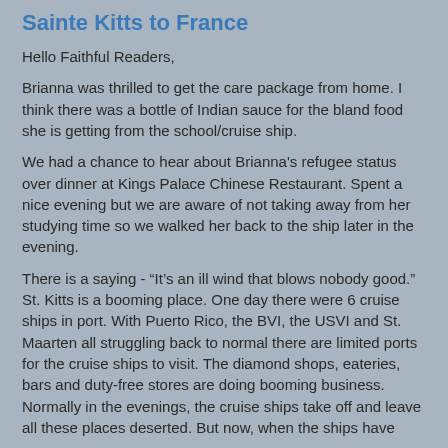Sainte Kitts to France
Hello Faithful Readers,
Brianna was thrilled to get the care package from home. I think there was a bottle of Indian sauce for the bland food she is getting from the school/cruise ship.
We had a chance to hear about Brianna's refugee status over dinner at Kings Palace Chinese Restaurant. Spent a nice evening but we are aware of not taking away from her studying time so we walked her back to the ship later in the evening.
There is a saying - “It’s an ill wind that blows nobody good.” St. Kitts is a booming place. One day there were 6 cruise ships in port. With Puerto Rico, the BVI, the USVI and St. Maarten all struggling back to normal there are limited ports for the cruise ships to visit. The diamond shops, eateries, bars and duty-free stores are doing booming business. Normally in the evenings, the cruise ships take off and leave all these places deserted. But now, when the ships have